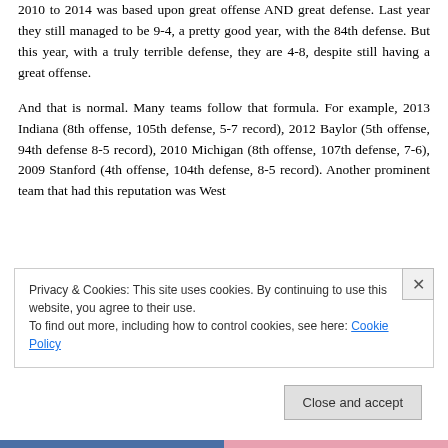2010 to 2014 was based upon great offense AND great defense. Last year they still managed to be 9-4, a pretty good year, with the 84th defense. But this year, with a truly terrible defense, they are 4-8, despite still having a great offense.
And that is normal. Many teams follow that formula. For example, 2013 Indiana (8th offense, 105th defense, 5-7 record), 2012 Baylor (5th offense, 94th defense 8-5 record), 2010 Michigan (8th offense, 107th defense, 7-6), 2009 Stanford (4th offense, 104th defense, 8-5 record). Another prominent team that had this reputation was West
Privacy & Cookies: This site uses cookies. By continuing to use this website, you agree to their use.
To find out more, including how to control cookies, see here: Cookie Policy